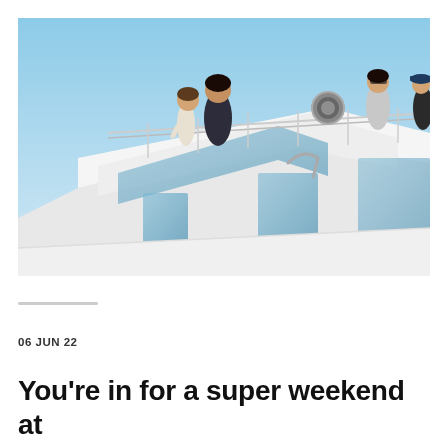[Figure (photo): People standing on the upper deck of a white boat/yacht against a clear blue sky. A young child and an adult are visible leaning on the railing on the left, and two more people are visible on the right side of the deck.]
06 JUN 22
You're in for a super weekend at